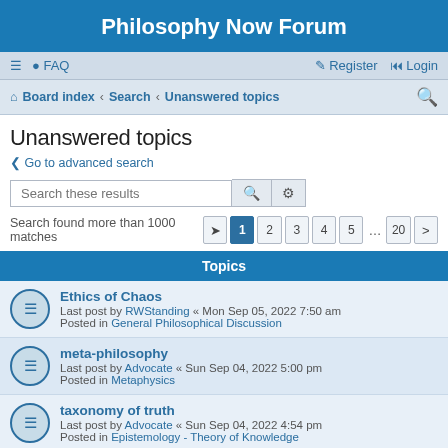Philosophy Now Forum
≡  FAQ  Register  Login
Board index · Search · Unanswered topics
Unanswered topics
< Go to advanced search
Search these results
Search found more than 1000 matches  1 2 3 4 5 ... 20 >
Topics
Ethics of Chaos
Last post by RWStanding « Mon Sep 05, 2022 7:50 am
Posted in General Philosophical Discussion
meta-philosophy
Last post by Advocate « Sun Sep 04, 2022 5:00 pm
Posted in Metaphysics
taxonomy of truth
Last post by Advocate « Sun Sep 04, 2022 4:54 pm
Posted in Epistemology - Theory of Knowledge
Diversity and Globalisation
Last post by RWStanding « Sun Sep 04, 2022 ...